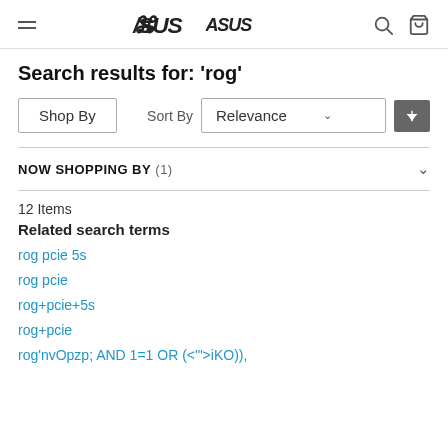ASUS header with menu, logo, search and cart icons
Search results for: 'rog'
Shop By | Sort By Relevance
NOW SHOPPING BY (1)
12 Items
Related search terms
rog pcie 5s
rog pcie
rog+pcie+5s
rog+pcie
rog'nvOpzp; AND 1=1 OR (<'">iKO)),